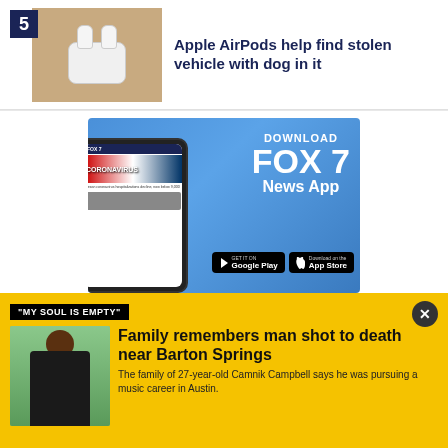[Figure (photo): Thumbnail image of Apple AirPods on a wooden surface with number badge 5]
Apple AirPods help find stolen vehicle with dog in it
[Figure (screenshot): Download FOX 7 News App advertisement banner with phone mockup showing coronavirus news, Google Play and App Store buttons]
"MY SOUL IS EMPTY"
[Figure (photo): Thumbnail of man with camera equipment outdoors]
Family remembers man shot to death near Barton Springs
The family of 27-year-old Camnik Campbell says he was pursuing a music career in Austin.